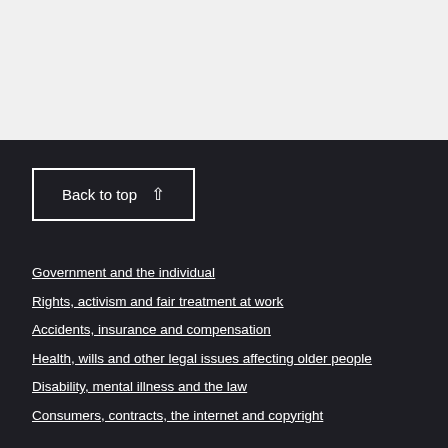Back to top ↑
Government and the individual
Rights, activism and fair treatment at work
Accidents, insurance and compensation
Health, wills and other legal issues affecting older people
Disability, mental illness and the law
Consumers, contracts, the internet and copyright